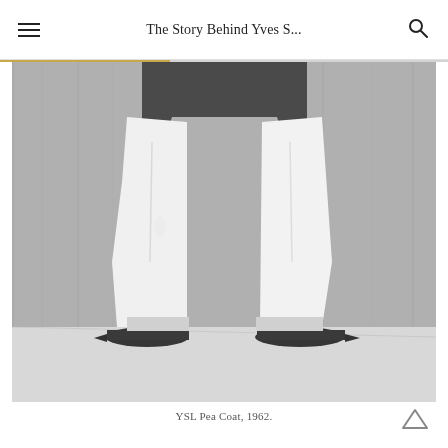The Story Behind Yves S...
[Figure (photo): Black and white photograph showing the lower half of a figure wearing white wide-leg trousers and a dark top with dark pointed-toe flat shoes, standing on a light floor against a gray draped background. YSL Pea Coat, 1962.]
YSL Pea Coat, 1962.